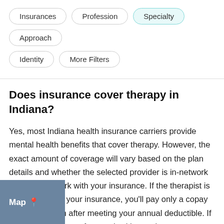Insurances | Profession | Specialty | Approach | Identity | More Filters
Does insurance cover therapy in Indiana?
Yes, most Indiana health insurance carriers provide mental health benefits that cover therapy. However, the exact amount of coverage will vary based on the plan details and whether the selected provider is in-network or out-of-network with your insurance. If the therapist is in-network with your insurance, you'll pay only a copay at each session after meeting your annual deductible. If the therapist is out-of-network with your insurance, you may still be able to receive reimbursement after paying the full fee at the time of therapy session. If you have a PPO or out-of-network insurance plan, you can likely receive some reimbursement when you see a therapist out-of-network including If you have an HMO, EPO...